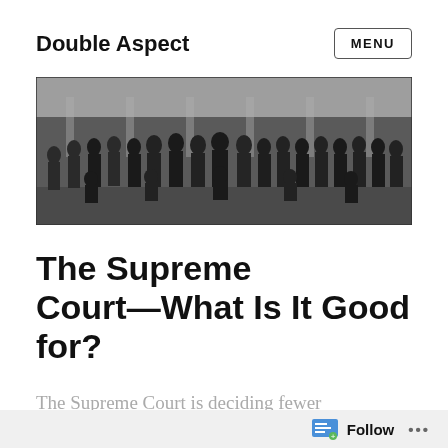Double Aspect
[Figure (photo): Black and white historical group photograph of approximately 25 men in formal Victorian-era attire, standing and seated in front of a building.]
The Supreme Court—What Is It Good for?
The Supreme Court is deciding fewer